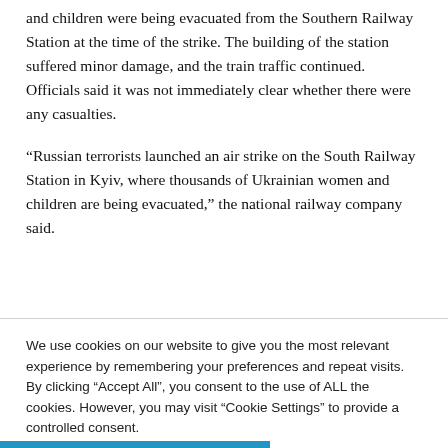and children were being evacuated from the Southern Railway Station at the time of the strike. The building of the station suffered minor damage, and the train traffic continued. Officials said it was not immediately clear whether there were any casualties.
“Russian terrorists launched an air strike on the South Railway Station in Kyiv, where thousands of Ukrainian women and children are being evacuated,” the national railway company said.
We use cookies on our website to give you the most relevant experience by remembering your preferences and repeat visits. By clicking “Accept All”, you consent to the use of ALL the cookies. However, you may visit "Cookie Settings" to provide a controlled consent.